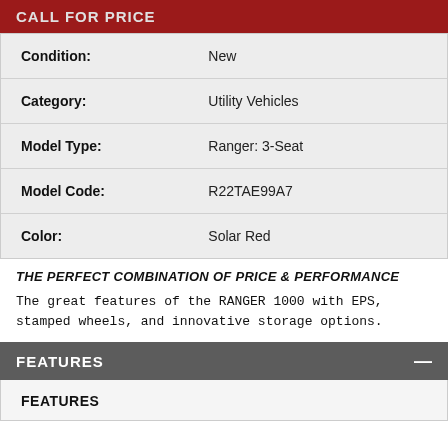CALL FOR PRICE
| Label | Value |
| --- | --- |
| Condition: | New |
| Category: | Utility Vehicles |
| Model Type: | Ranger: 3-Seat |
| Model Code: | R22TAE99A7 |
| Color: | Solar Red |
THE PERFECT COMBINATION OF PRICE & PERFORMANCE
The great features of the RANGER 1000 with EPS, stamped wheels, and innovative storage options.
FEATURES
FEATURES